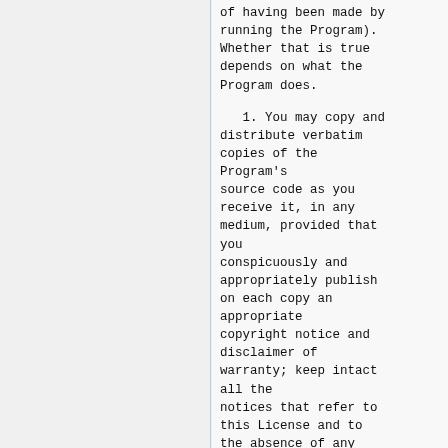of having been made by running the Program). Whether that is true depends on what the Program does.
1. You may copy and distribute verbatim copies of the Program's source code as you receive it, in any medium, provided that you conspicuously and appropriately publish on each copy an appropriate copyright notice and disclaimer of warranty; keep intact all the notices that refer to this License and to the absence of any